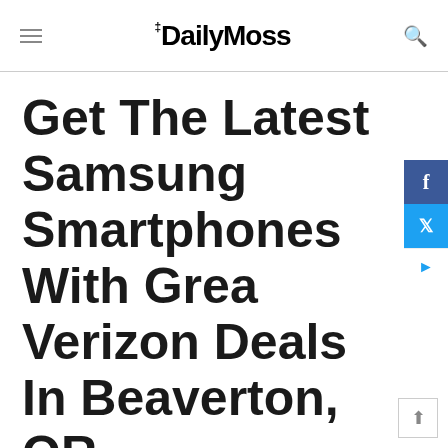TheDailyMoss
Get The Latest Samsung Smartphones With Great Verizon Deals In Beaverton, OR
Dec 2, 2020
Share  Tweet
Are you looking for the latest Samsung smartphone or tablet? How about mobile broadband at affordable prices? Check out this